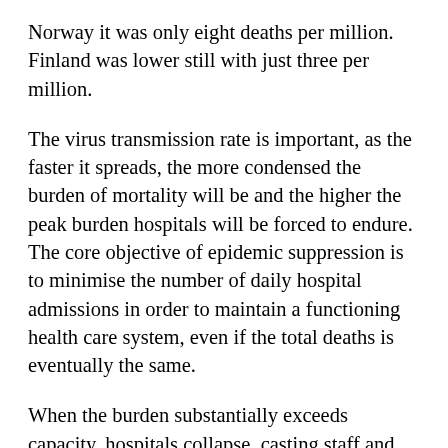Norway it was only eight deaths per million. Finland was lower still with just three per million.
The virus transmission rate is important, as the faster it spreads, the more condensed the burden of mortality will be and the higher the peak burden hospitals will be forced to endure. The core objective of epidemic suppression is to minimise the number of daily hospital admissions in order to maintain a functioning health care system, even if the total deaths is eventually the same.
When the burden substantially exceeds capacity, hospitals collapse, casting staff and patients into the medical dark ages. So staying within capacity is paramount. In preparation, each of the Nordic countries have conducted detailed simulations to estimate the extent to which the hospitals will need